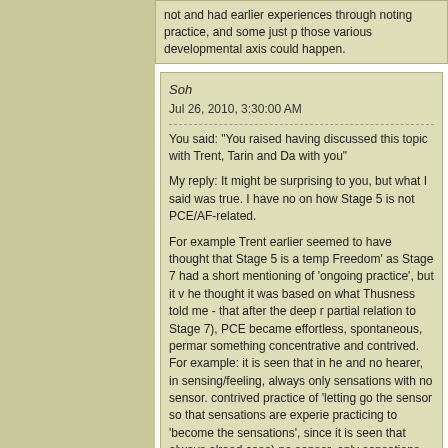not and had earlier experiences through noting practice, and some just p those various developmental axis could happen.
Soh
Jul 26, 2010, 3:30:00 AM
You said: "You raised having discussed this topic with Trent, Tarin and Da with you"
My reply: It might be surprising to you, but what I said was true. I have no on how Stage 5 is not PCE/AF-related.
For example Trent earlier seemed to have thought that Stage 5 is a temp Freedom' as Stage 7 had a short mentioning of 'ongoing practice', but it v he thought it was based on what Thusness told me - that after the deep r partial relation to Stage 7), PCE became effortless, spontaneous, permar something concentrative and contrived. For example: it is seen that in he and no hearer, in sensing/feeling, always only sensations with no sensor. contrived practice of 'letting go the sensor so that sensations are experie practicing to 'become the sensations', since it is seen that always alread case) no sensor, only sensations, in seeing (always in actuality) only sce immolation occurs, not that there was a really existing self to immolate th identity is realized as false and hence relinquished forever, and thus PCE effortless. There cannot be a moment where one says one has 'lost the F because the illusion (false identity) that there had ever truly been an obse 'practice' is thus different from prior-realization as there is no longer a ne (e.g. let go, concentrate/attend to sensations, etc, to drop the 'self' and di simply an effortless and spontaneous 'actualizing of view/realization' in e' sensation/experience/action, in other words just seeing, just hearing, just perfection and is not what ordinary people think of as 'practice'.
It is after this clarification that Trent said "what you write here sounds like
I have not heard from others (Tarin or Daniel) of anything implying that St